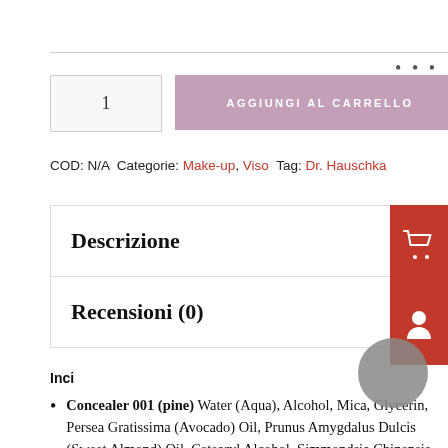1
AGGIUNGI AL CARRELLO
COD: N/A Categorie: Make-up, Viso Tag: Dr. Hauschka
Descrizione
Recensioni (0)
Inci
Concealer 001 (pine) Water (Aqua), Alcohol, Mica, Glycerin, Persea Gratissima (Avocado) Oil, Prunus Amygdalus Dulcis (Sweet Almond) Oil, Cetearyl Alcohol, Simmondsia Chinensis (Jojoba) Seed Oil, Macadamia Integrifolia Seed Oil, Butyrospermum Parkii (Shea) Butter,